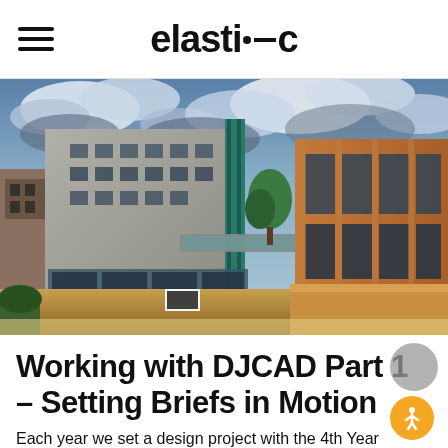elasti-c
[Figure (photo): Exterior view of DJCAD (Duncan of Jordanstone College of Art and Design) buildings in Dundee, showing brutalist concrete architecture and brick buildings under a dramatic cloudy sky with vivid HDR-style processing.]
Working with DJCAD Part 1 – Setting Briefs in Motion
Each year we set a design project with the 4th Year